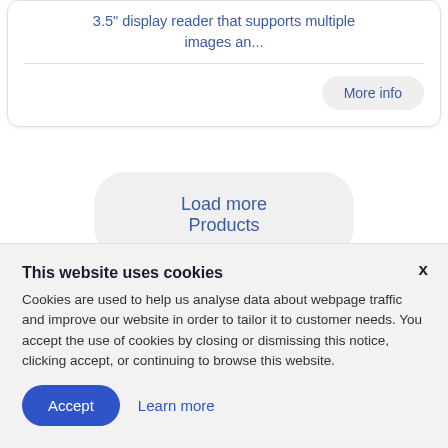3.5" display reader that supports multiple images an...
More info
Load more Products
This website uses cookies
Cookies are used to help us analyse data about webpage traffic and improve our website in order to tailor it to customer needs. You accept the use of cookies by closing or dismissing this notice, clicking accept, or continuing to browse this website.
Accept
Learn more